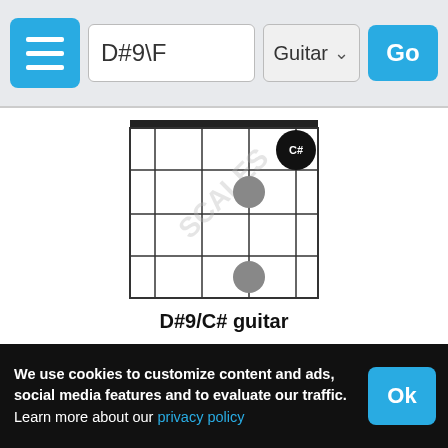D#9\F — Guitar — Go
[Figure (other): Guitar chord diagram for D#9/C# showing fretboard grid with note markers at C#, and two grey dots]
D#9/C# guitar
[Figure (other): Guitar chord diagram (partially visible) with barre at 3rd fret, notes F, A#, G at 3rd fret, C# and D# at 4th fret, grey dot at 5th fret. X above first string. Fret labels: 3rd fr., 4th fr., 5th fr.]
We use cookies to customize content and ads, social media features and to evaluate our traffic.
Learn more about our privacy policy